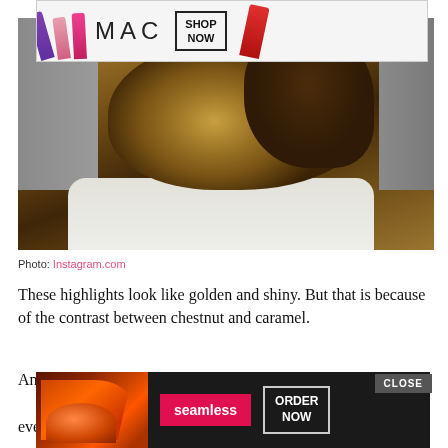[Figure (photo): MAC cosmetics advertisement banner with lipsticks, MAC logo, and SHOP NOW button]
[Figure (photo): Back view of a person with chestnut and caramel highlighted hair in a wavy bob style, white shirt, gray background]
Photo: Instagram.com
These highlights look like golden and shiny. But that is because of the contrast between chestnut and caramel.
And word of notice: chestnut is another combination that works everythi... oks
[Figure (screenshot): Seamless food delivery advertisement with pizza image, seamless logo, ORDER NOW button, and CLOSE button]